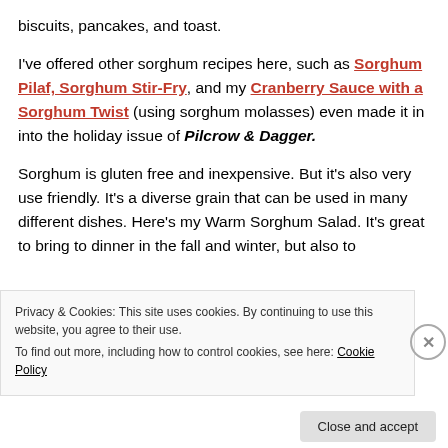biscuits, pancakes, and toast.
I've offered other sorghum recipes here, such as Sorghum Pilaf, Sorghum Stir-Fry, and my Cranberry Sauce with a Sorghum Twist (using sorghum molasses) even made it in into the holiday issue of Pilcrow & Dagger.
Sorghum is gluten free and inexpensive. But it's also very use friendly. It's a diverse grain that can be used in many different dishes. Here's my Warm Sorghum Salad. It's great to bring to dinner in the fall and winter, but also to
Privacy & Cookies: This site uses cookies. By continuing to use this website, you agree to their use.
To find out more, including how to control cookies, see here: Cookie Policy
Close and accept